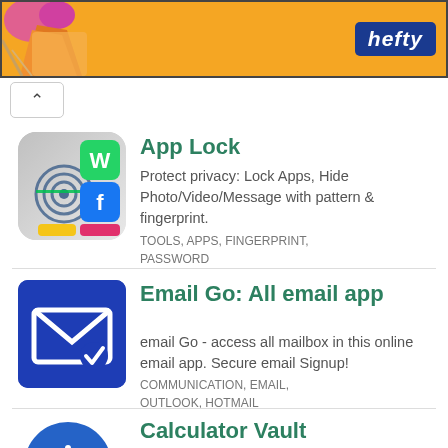[Figure (illustration): Orange Hefty brand advertisement banner with product illustration on left]
[Figure (illustration): App Lock app icon - fingerprint lock app with colorful social app icons]
App Lock
Protect privacy: Lock Apps, Hide Photo/Video/Message with pattern & fingerprint.
TOOLS, APPS, FINGERPRINT, PASSWORD
[Figure (illustration): Email Go app icon - blue background with white envelope/checkmark icon]
Email Go: All email app
email Go - access all mailbox in this online email app. Secure email Signup!
COMMUNICATION, EMAIL, OUTLOOK, HOTMAIL
[Figure (illustration): Calculator Vault app icon - blue circle with plus and minus symbols]
Calculator Vault
Hide Private photos, videos, music, app